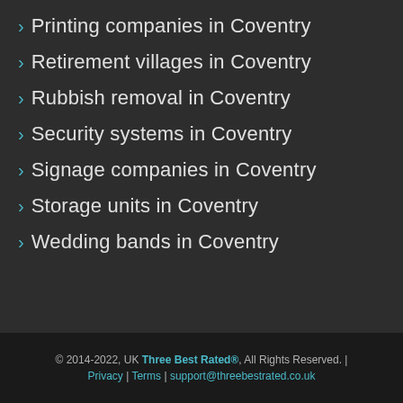Printing companies in Coventry
Retirement villages in Coventry
Rubbish removal in Coventry
Security systems in Coventry
Signage companies in Coventry
Storage units in Coventry
Wedding bands in Coventry
© 2014-2022, UK Three Best Rated®, All Rights Reserved. | Privacy | Terms | support@threebestrated.co.uk